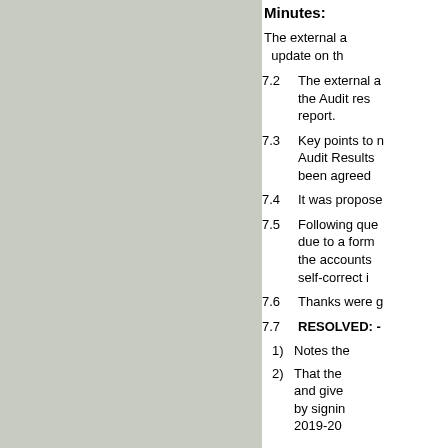Minutes:
The external a... update on th...
7.2  The external a... the Audit res... report.
7.3  Key points to n... Audit Results... been agreed...
7.4  It was propose...
7.5  Following que... due to a form... the accounts... self-correct i...
7.6  Thanks were g...
7.7  RESOLVED: -
1)  Notes the...
2)  That the... and give... by signin... 2019-20...